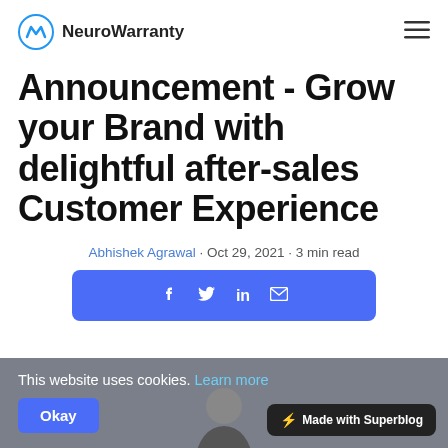NeuroWarranty
Announcement - Grow your Brand with delightful after-sales Customer Experience
Abhishek Agrawal · Oct 29, 2021 · 3 min read
[Figure (infographic): Social share buttons bar with Facebook, Twitter, LinkedIn, and email icons on a blue rounded rectangle]
This website uses cookies. Learn more
Okay
[Figure (photo): Partial view of a person's head at the bottom center of the page]
⚡ Made with Superblog